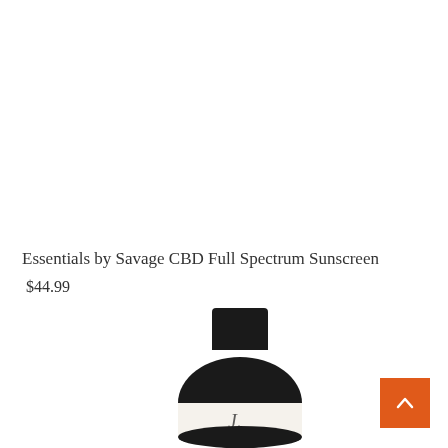Essentials by Savage CBD Full Spectrum Sunscreen
$44.99
[Figure (photo): A dark/black bottle of Essentials by Savage CBD Full Spectrum Sunscreen with a rounded body and square cap, white label with cursive logo visible at the bottom]
[Figure (other): Orange scroll-to-top button with an upward chevron arrow, positioned in the bottom-right corner]